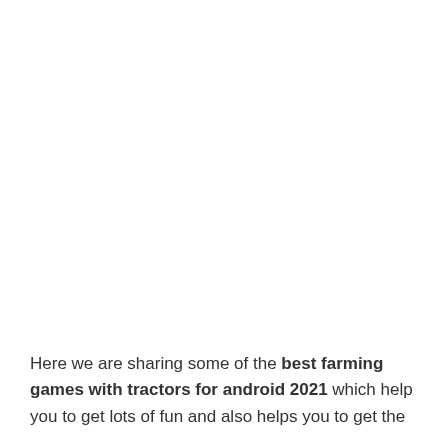Here we are sharing some of the best farming games with tractors for android 2021 which help you to get lots of fun and also helps you to get the